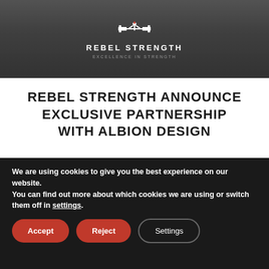[Figure (photo): Dark gym/fitness background with Rebel Strength logo (barbell icon and text) centered at top]
REBEL STRENGTH ANNOUNCE EXCLUSIVE PARTNERSHIP WITH ALBION DESIGN
READ MORE
[Figure (photo): Dark gym equipment image strip]
We are using cookies to give you the best experience on our website.
You can find out more about which cookies we are using or switch them off in settings.
Accept  Reject  Settings